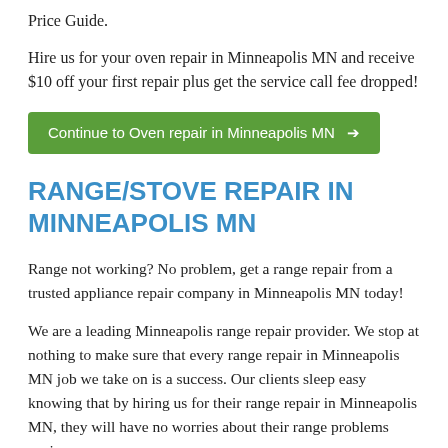Price Guide.
Hire us for your oven repair in Minneapolis MN and receive $10 off your first repair plus get the service call fee dropped!
Continue to Oven repair in Minneapolis MN →
RANGE/STOVE REPAIR IN MINNEAPOLIS MN
Range not working? No problem, get a range repair from a trusted appliance repair company in Minneapolis MN today!
We are a leading Minneapolis range repair provider. We stop at nothing to make sure that every range repair in Minneapolis MN job we take on is a success. Our clients sleep easy knowing that by hiring us for their range repair in Minneapolis MN, they will have no worries about their range problems again.
The job begins with finding the range parts that need swapped out and